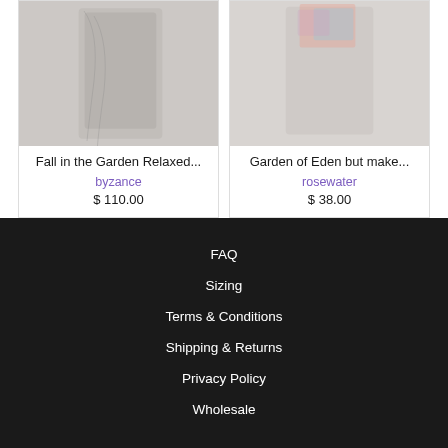[Figure (photo): Product photo of Fall in the Garden Relaxed garment - light grey background with patterned clothing item]
Fall in the Garden Relaxed...
byzance
$ 110.00
[Figure (photo): Product photo of Garden of Eden but make... item - light background with colorful clothing]
Garden of Eden but make...
rosewater
$ 38.00
FAQ
Sizing
Terms & Conditions
Shipping & Returns
Privacy Policy
Wholesale